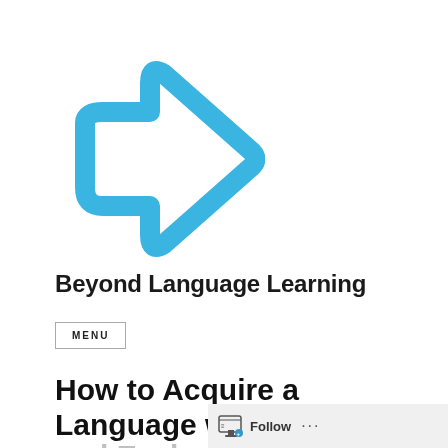[Figure (logo): Blue outlined arrow/forward icon logo for Beyond Language Learning website]
Beyond Language Learning
MENU
How to Acquire a Language with Tutors
and Exchanges, an...
[Figure (screenshot): WordPress Follow button bar at bottom right with notepad icon and Follow text]